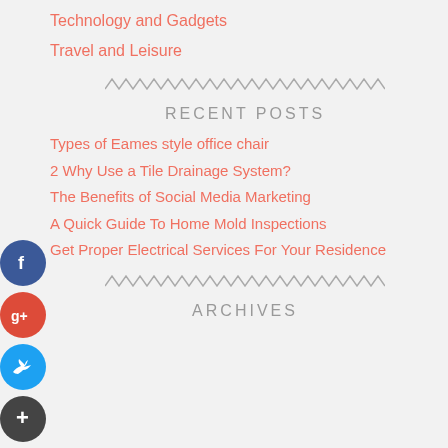Technology and Gadgets
Travel and Leisure
RECENT POSTS
Types of Eames style office chair
2 Why Use a Tile Drainage System?
The Benefits of Social Media Marketing
A Quick Guide To Home Mold Inspections
Get Proper Electrical Services For Your Residence
ARCHIVES